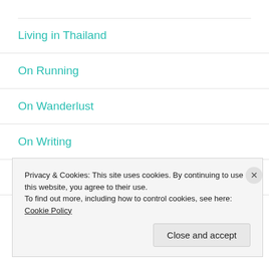Living in Thailand
On Running
On Wanderlust
On Writing
Taniel
Thailand
Privacy & Cookies: This site uses cookies. By continuing to use this website, you agree to their use.
To find out more, including how to control cookies, see here: Cookie Policy
Close and accept